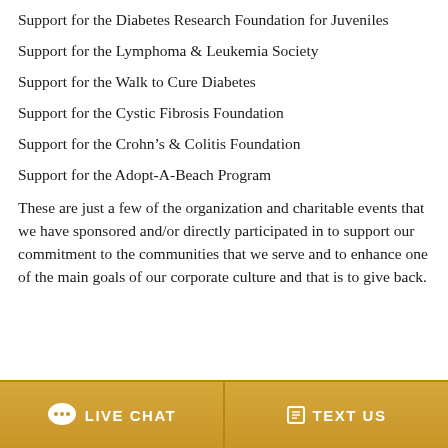Support for the Diabetes Research Foundation for Juveniles
Support for the Lymphoma & Leukemia Society
Support for the Walk to Cure Diabetes
Support for the Cystic Fibrosis Foundation
Support for the Crohn's & Colitis Foundation
Support for the Adopt-A-Beach Program
These are just a few of the organization and charitable events that we have sponsored and/or directly participated in to support our commitment to the communities that we serve and to enhance one of the main goals of our corporate culture and that is to give back.
LIVE CHAT   TEXT US